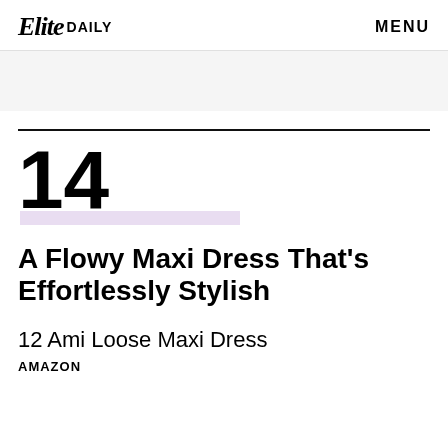Elite DAILY   MENU
14
A Flowy Maxi Dress That's Effortlessly Stylish
12 Ami Loose Maxi Dress
AMAZON